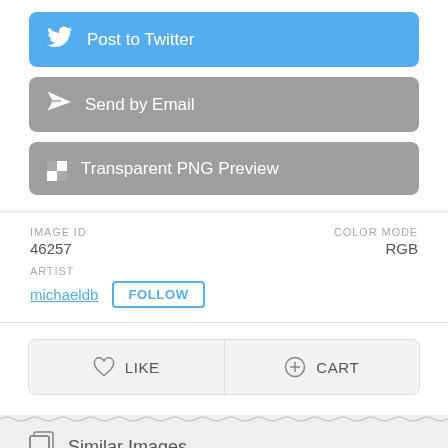[Figure (screenshot): Post to Twitter button with Twitter bird icon, blue background]
[Figure (screenshot): Send by Email button with paper plane icon, gray background]
[Figure (screenshot): Transparent PNG Preview button with checkerboard icon, gray background]
IMAGE ID
46257
COLOR MODE
RGB
ARTIST
michaeldb FOLLOW
[Figure (screenshot): LIKE and CART action buttons]
Similar Images